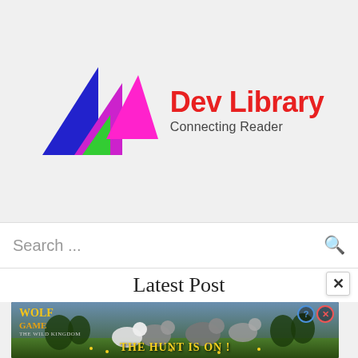[Figure (logo): Dev Library logo with colorful mountain/triangle shapes in blue, magenta, green and pink, with text 'Dev Library' in red and 'Connecting Reader' in dark gray]
Search ...
Latest Post
[Figure (photo): Wolf Game: The Wild Kingdom advertisement banner showing wolves in a forest field with text 'THE HUNT IS ON!']